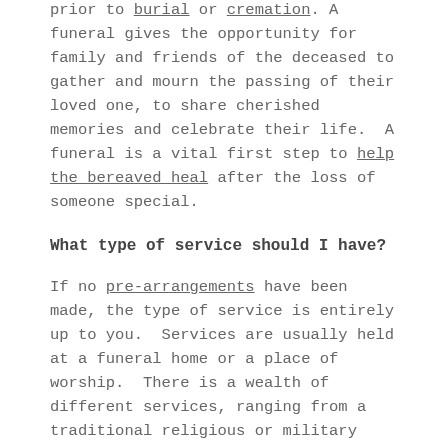prior to burial or cremation. A funeral gives the opportunity for family and friends of the deceased to gather and mourn the passing of their loved one, to share cherished memories and celebrate their life. A funeral is a vital first step to help the bereaved heal after the loss of someone special.
What type of service should I have?
If no pre-arrangements have been made, the type of service is entirely up to you. Services are usually held at a funeral home or a place of worship. There is a wealth of different services, ranging from a traditional religious or military service to something a little more non-traditional. Our funeral directors are more than happy to work with you to figure out what would be the most appropriate.